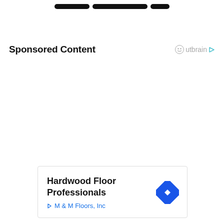[Figure (other): Three dark pill-shaped navigation buttons at the top of the page]
Sponsored Content
[Figure (logo): Outbrain logo with smiley face icon and cyan play arrow]
[Figure (other): Ad card with blue diamond navigation icon showing Hardwood Floor Professionals by M & M Floors, Inc]